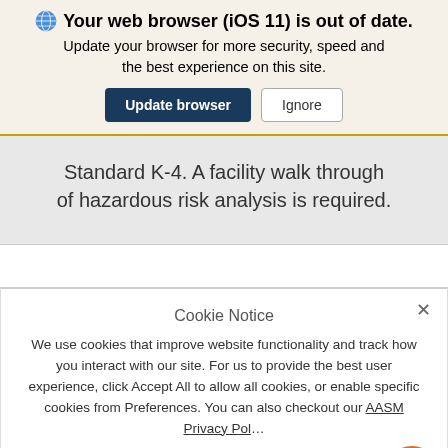Your web browser (iOS 11) is out of date.
Update your browser for more security, speed and the best experience on this site.
Standard K-4. A facility walk through of hazardous risk analysis is required.
Cookie Notice
We use cookies that improve website functionality and track how you interact with our site. For us to provide the best user experience, click Accept All to allow all cookies, or enable specific cookies from Preferences. You can also checkout our AASM Privacy Pol…